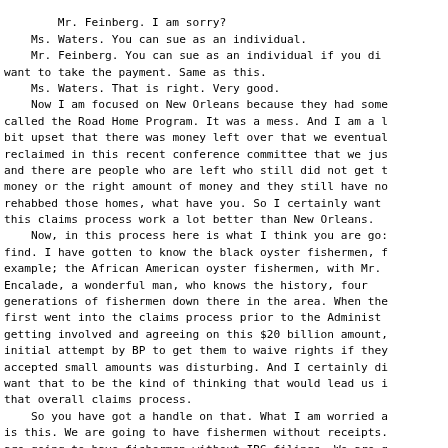Mr. Feinberg. I am sorry?
    Ms. Waters. You can sue as an individual.
    Mr. Feinberg. You can sue as an individual if you did not want to take the payment. Same as this.
    Ms. Waters. That is right. Very good.
    Now I am focused on New Orleans because they had some called the Road Home Program. It was a mess. And I am a little bit upset that there was money left over that we eventually reclaimed in this recent conference committee that we just and there are people who are left who still did not get the money or the right amount of money and they still have not rehabbed those homes, what have you. So I certainly want this claims process work a lot better than New Orleans.
    Now, in this process here is what I think you are going to find. I have gotten to know the black oyster fishermen, for example; the African American oyster fishermen, with Mr. Encalade, a wonderful man, who knows the history, four generations of fishermen down there in the area. When they first went into the claims process prior to the Administration getting involved and agreeing on this $20 billion amount, initial attempt by BP to get them to waive rights if they accepted small amounts was disturbing. And I certainly did not want that to be the kind of thinking that would lead us in that overall claims process.
    So you have got a handle on that. What I am worried about is this. We are going to have fishermen without receipts. We are going to have fishermen without IRS filings. We are going to have fishermen who maybe are not that literate. They have fished all of their lives. They earn a living for their families in the villages that they live in but they are